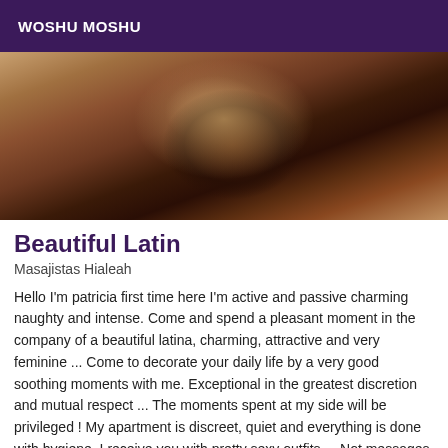WOSHU MOSHU
[Figure (photo): Close-up photograph of a person's body]
Beautiful Latin
Masajistas Hialeah
Hello I'm patricia first time here I'm active and passive charming naughty and intense. Come and spend a pleasant moment in the company of a beautiful latina, charming, attractive and very feminine ... Come to decorate your daily life by a very good soothing moments with me. Exceptional in the greatest discretion and mutual respect ... The moments spent at my side will be privileged ! My apartment is discreet, quiet and everything is done with hygiene. I receive you with pretty sexy outfits.... Not messages my number hidden